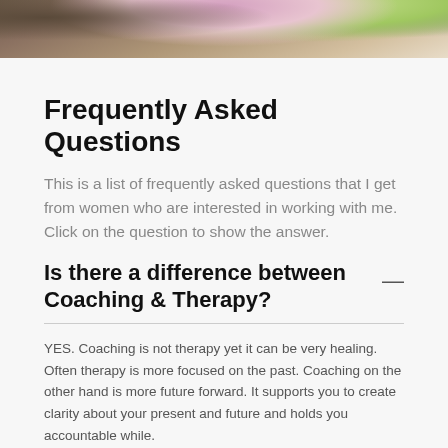[Figure (photo): Top strip showing a partial photo of a woman in a floral dress near a tree, outdoors with greenery]
Frequently Asked Questions
This is a list of frequently asked questions that I get from women who are interested in working with me. Click on the question to show the answer.
Is there a difference between Coaching & Therapy?
YES. Coaching is not therapy yet it can be very healing.
Often therapy is more focused on the past. Coaching on the other hand is more future forward. It supports you to create clarity about your present and future and holds you accountable while.